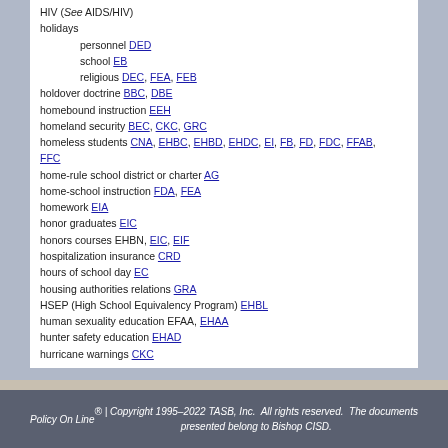HIV (See AIDS/HIV)
holidays
personnel DED
school EB
religious DEC, FEA, FEB
holdover doctrine BBC, DBE
homebound instruction EEH
homeland security BEC, CKC, GRC
homeless students CNA, EHBC, EHBD, EHDC, EI, FB, FD, FDC, FFAB, FFC
home-rule school district or charter AG
home-school instruction FDA, FEA
homework EIA
honor graduates EIC
honors courses EHBN, EIC, EIF
hospitalization insurance CRD
hours of school day EC
housing authorities relations GRA
HSEP (High School Equivalency Program) EHBL
human sexuality education EFAA, EHAA
hunter safety education EHAD
hurricane warnings CKC
Policy On Line ® | Copyright 1995–2022 TASB, Inc. All rights reserved. The documents presented belong to Bishop CISD.